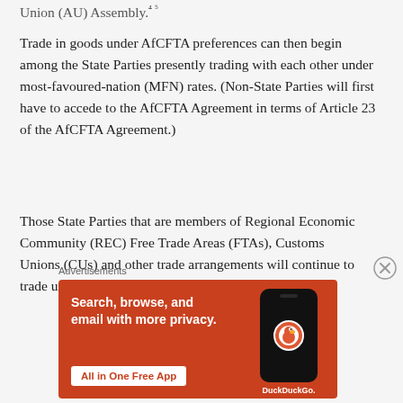Union (AU) Assembly.
Trade in goods under AfCFTA preferences can then begin among the State Parties presently trading with each other under most-favoured-nation (MFN) rates. (Non-State Parties will first have to accede to the AfCFTA Agreement in terms of Article 23 of the AfCFTA Agreement.)
Those State Parties that are members of Regional Economic Community (REC) Free Trade Areas (FTAs), Customs Unions (CUs) and other trade arrangements will continue to trade under existing preferential
[Figure (other): DuckDuckGo advertisement banner with orange background. Text reads: 'Search, browse, and email with more privacy. All in One Free App'. Shows a phone mockup with DuckDuckGo logo.]